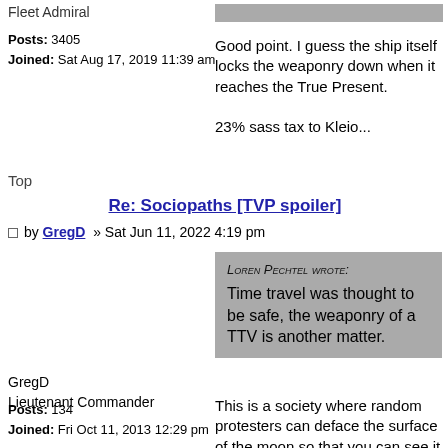Fleet Admiral
Posts: 3405
Joined: Sat Aug 17, 2019 11:39 am
Good point. I guess the ship itself locks the weaponry down when it reaches the True Present.

23% sass tax to Kleio...
Top
Re: Sociopaths [TVP spoiler]
by GregD » Sat Jun 11, 2022 4:19 pm
LOREN PECHTEL WROTE:
Time travel was thought to be safe, the weaponry of a TTV is another matter.
GregD
Lieutenant Commander
Posts: 134
Joined: Fri Oct 11, 2013 12:29 pm
This is a society where random protesters can deface the surface of the moon so that you can see it from HOW far away?